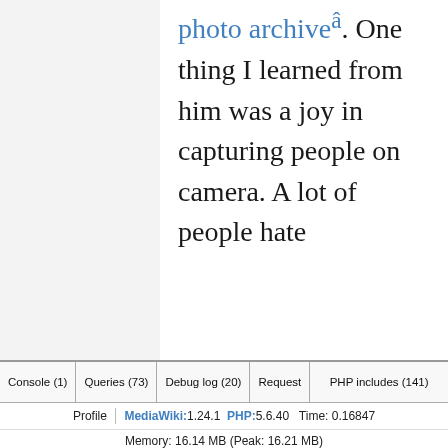photo archive®. One thing I learned from him was a joy in capturing people on camera. A lot of people hate
Console (1)  Queries (73)  Debug log (20)  Request  PHP includes (141)  Profile  MediaWiki: 1.24.1  PHP: 5.6.40  Time: 0.16847  Memory: 16.14 MB (Peak: 16.21 MB)